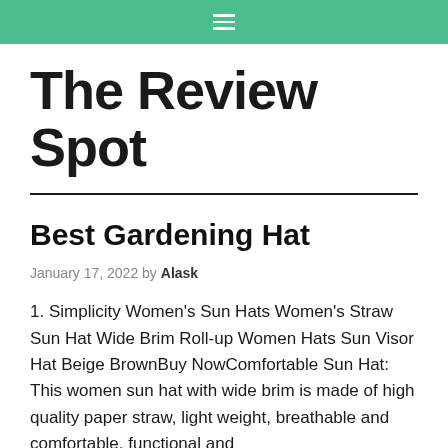≡
The Review Spot
Best Gardening Hat
January 17, 2022 by Alask
1. Simplicity Women's Sun Hats Women's Straw Sun Hat Wide Brim Roll-up Women Hats Sun Visor Hat Beige BrownBuy NowComfortable Sun Hat: This women sun hat with wide brim is made of high quality paper straw, light weight, breathable and comfortable, functional and